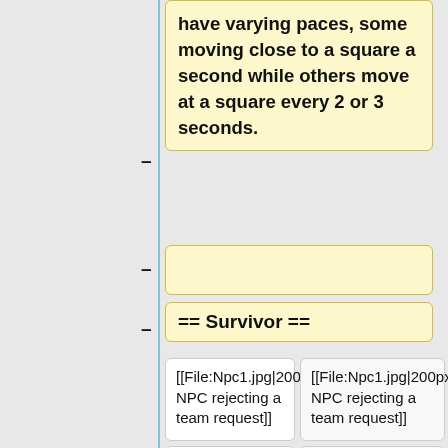have varying paces, some moving close to a square a second while others move at a square every 2 or 3 seconds.
== Survivor ==
[[File:Npc1.jpg|200px|thumb|left|A NPC rejecting a team request]]
[[File:Npc1.jpg|200px|thumb|left|A NPC rejecting a team request]]
[[Survivors]] are able to team up with both the player and other survivors. The player can
[[Survivors]] are able to team up with both the player and other survivors. The player can